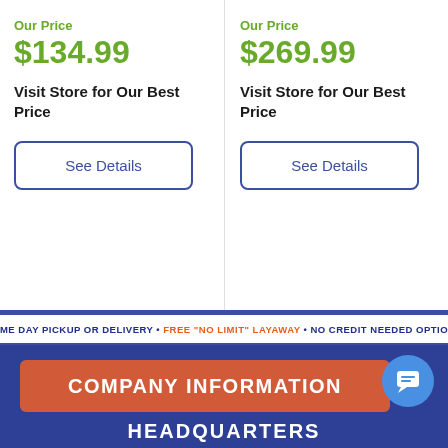Our Price
$134.99
Visit Store for Our Best Price
See Details
Our Price
$269.99
Visit Store for Our Best Price
See Details
SAME DAY PICKUP OR DELIVERY • FREE "NO LIMIT" LAYAWAY • NO CREDIT NEEDED OPTIONS
COMPANY INFORMATION
HEADQUARTERS